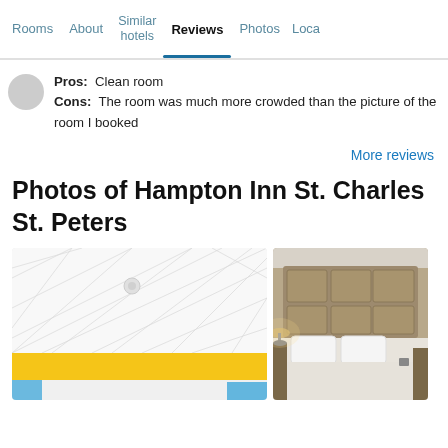Rooms | About | Similar hotels | Reviews | Photos | Loca…
Pros: Clean room
Cons: The room was much more crowded than the picture of the room I booked
More reviews
Photos of Hampton Inn St. Charles St. Peters
[Figure (photo): Close-up of white bedding/mattress topper with yellow and blue border]
[Figure (photo): Hotel room with tan upholstered headboard, white pillows, and bedside lamp]